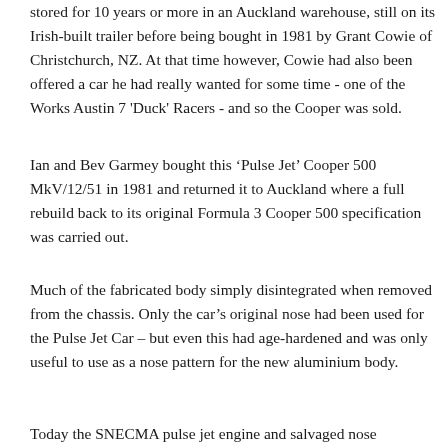stored for 10 years or more in an Auckland warehouse, still on its Irish-built trailer before being bought in 1981 by Grant Cowie of Christchurch, NZ. At that time however, Cowie had also been offered a car he had really wanted for some time - one of the Works Austin 7 'Duck' Racers - and so the Cooper was sold.
Ian and Bev Garmey bought this ‘Pulse Jet’ Cooper 500 MkV/12/51 in 1981 and returned it to Auckland where a full rebuild back to its original Formula 3 Cooper 500 specification was carried out.
Much of the fabricated body simply disintegrated when removed from the chassis. Only the car’s original nose had been used for the Pulse Jet Car – but even this had age-hardened and was only useful to use as a nose pattern for the new aluminium body.
Today the SNECMA pulse jet engine and salvaged nose